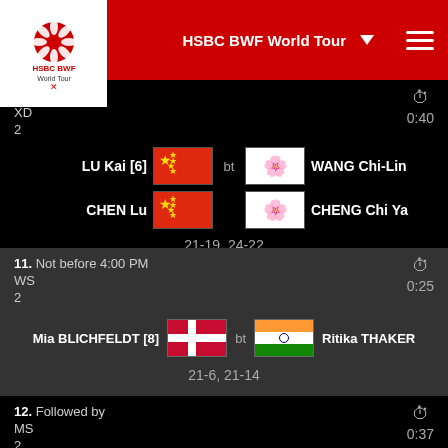HSBC BWF World Tour
10. Followed by
XD
2
0:40
LU Kai [6] bt WANG Chi-Lin / CHEN Lu bt CHENG Chi Ya
21-19, 24-22
11. Not before 4:00 PM
WS
2
0:25
Mia BLICHFELDT [8] bt Ritika THAKER
21-6, 21-14
12. Followed by
MS
2
0:37